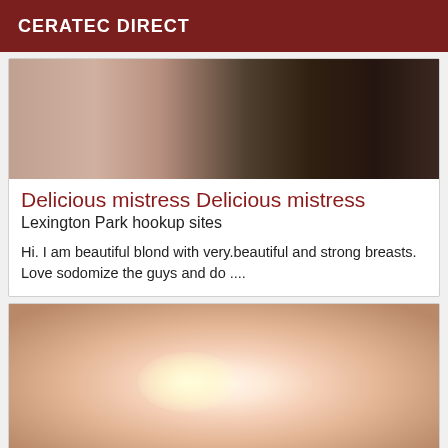CERATEC DIRECT
[Figure (photo): Close-up photo of hands and body against dark background]
Delicious mistress Delicious mistress
Lexington Park hookup sites
Hi. I am beautiful blond with very.beautiful and strong breasts. Love sodomize the guys and do ....
[Figure (photo): Blurred close-up adult photo]